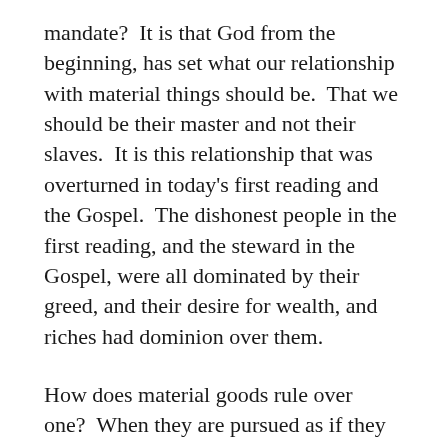mandate?  It is that God from the beginning, has set what our relationship with material things should be.  That we should be their master and not their slaves.  It is this relationship that was overturned in today's first reading and the Gospel.  The dishonest people in the first reading, and the steward in the Gospel, were all dominated by their greed, and their desire for wealth, and riches had dominion over them.
How does material goods rule over one?  When they are pursued as if they are the only thing that matters in life that one's life is centered on them.  For example, when our desire to acquire money to buy a house, buy a car, throw